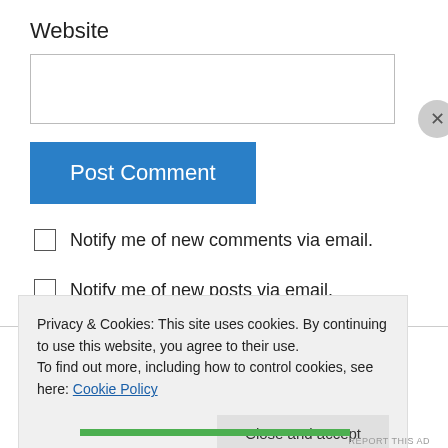Website
[Figure (screenshot): Empty text input field for website URL]
Post Comment
Notify me of new comments via email.
Notify me of new posts via email.
My Twitter
Privacy & Cookies: This site uses cookies. By continuing to use this website, you agree to their use.
To find out more, including how to control cookies, see here: Cookie Policy
Close and accept